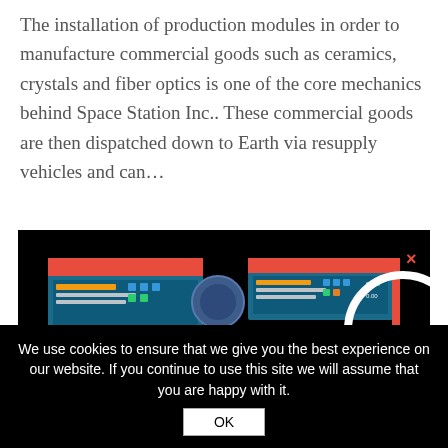The installation of production modules in order to manufacture commercial goods such as ceramics, crystals and fiber optics is one of the core mechanics behind Space Station Inc.. These commercial goods are then dispatched down to Earth via resupply vehicles and can…
[Figure (screenshot): A dark-themed game UI screenshot showing production module panels with teal/blue interface cards, maintenance capability icons, and a large white circle graphic on the right side against a black background.]
We use cookies to ensure that we give you the best experience on our website. If you continue to use this site we will assume that you are happy with it.